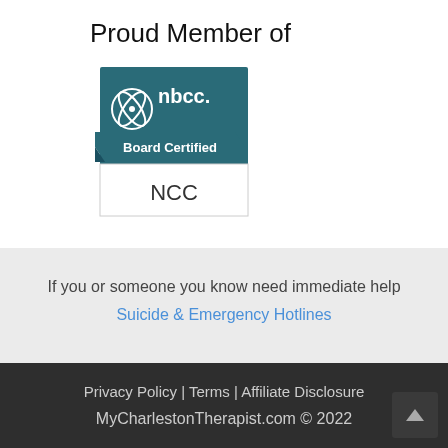Proud Member of
[Figure (logo): NBCC Board Certified NCC badge logo — dark teal square with atom-like symbol and 'nbcc.' text, ribbon banner reading 'Board Certified', lower white section with 'NCC' text]
If you or someone you know need immediate help
Suicide & Emergency Hotlines
Privacy Policy | Terms | Affiliate Disclosure
MyCharlestonTherapist.com © 2022